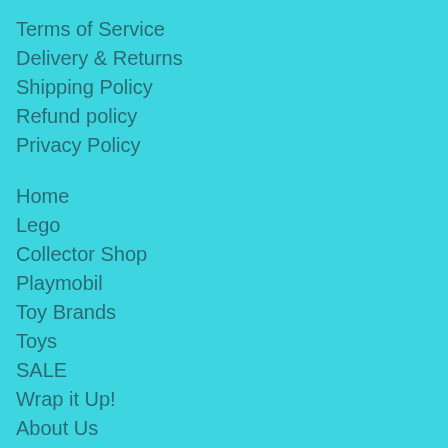Terms of Service
Delivery & Returns
Shipping Policy
Refund policy
Privacy Policy
Home
Lego
Collector Shop
Playmobil
Toy Brands
Toys
SALE
Wrap it Up!
About Us
Help